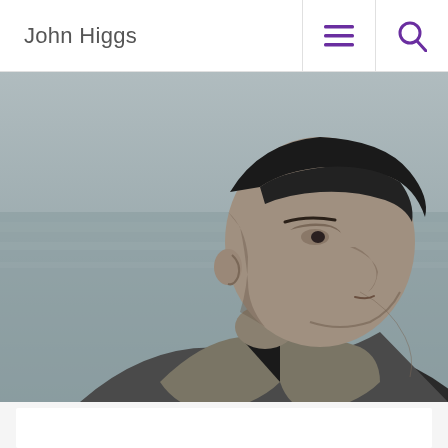John Higgs
[Figure (photo): Black and white portrait photograph of a man (John Higgs) in profile view, wearing a light jacket over a black t-shirt, with water/sea in the background.]